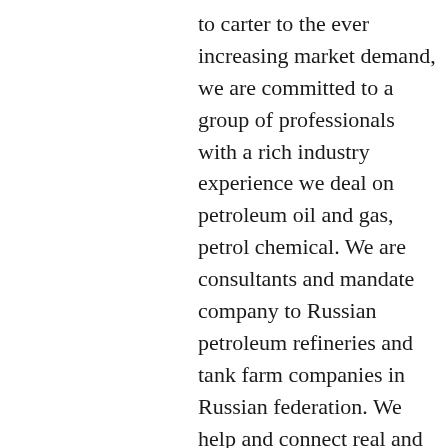to carter to the ever increasing market demand, we are committed to a group of professionals with a rich industry experience we deal on petroleum oil and gas, petrol chemical. We are consultants and mandate company to Russian petroleum refineries and tank farm companies in Russian federation. We help and connect real and serious and genuine buyers looking for crude oil and it's produce of Russian origin with trusted and verified end seller ,the diesel gas oil [RBEBO][D2] ,liquefied petroleum gas[LPG],liquified natural gas[LNG],diesel ultra low sulfur[USLD],diesel fuel [EN590],diesel automotive gas oil, [AGO],bitumen,gasoline,fuel oil,base oil respectively. Our end seller companies and refineries trades in crude oil and derivates on SPOT,TTO,[tanker take over],TTT[tanker